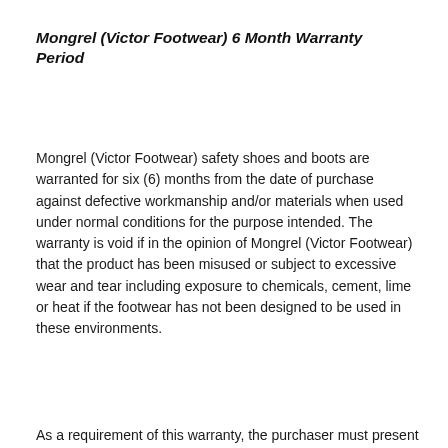Mongrel (Victor Footwear) 6 Month Warranty Period
Mongrel (Victor Footwear) safety shoes and boots are warranted for six (6) months from the date of purchase against defective workmanship and/or materials when used under normal conditions for the purpose intended. The warranty is void if in the opinion of Mongrel (Victor Footwear) that the product has been misused or subject to excessive wear and tear including exposure to chemicals, cement, lime or heat if the footwear has not been designed to be used in these environments.
As a requirement of this warranty, the purchaser must present